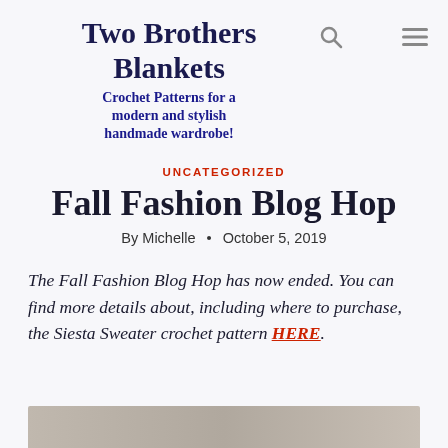Two Brothers Blankets
Crochet Patterns for a modern and stylish handmade wardrobe!
UNCATEGORIZED
Fall Fashion Blog Hop
By Michelle • October 5, 2019
The Fall Fashion Blog Hop has now ended. You can find more details about, including where to purchase, the Siesta Sweater crochet pattern HERE.
[Figure (photo): Partial image strip at the bottom of the page, showing a preview of a photo related to the Fall Fashion Blog Hop]